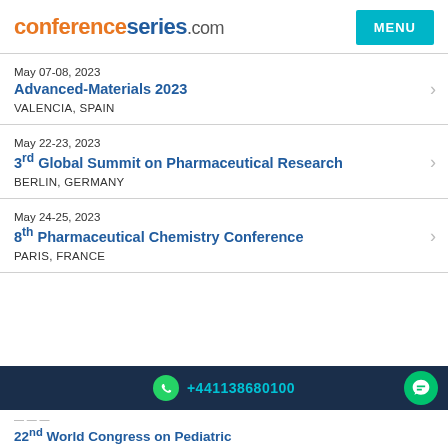conferenceseries.com
May 07-08, 2023
Advanced-Materials 2023
VALENCIA, SPAIN
May 22-23, 2023
3rd Global Summit on Pharmaceutical Research
BERLIN, GERMANY
May 24-25, 2023
8th Pharmaceutical Chemistry Conference
PARIS, FRANCE
+441138680100
22nd World Congress on Pediatric